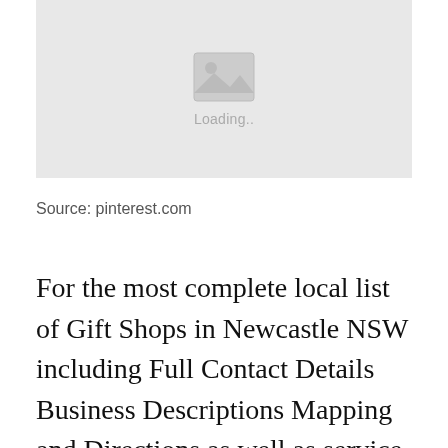[Figure (photo): Image placeholder with loading icon and 'Loading...' text on a grey background]
Source: pinterest.com
For the most complete local list of Gift Shops in Newcastle NSW including Full Contact Details Business Descriptions Mapping and Directions as well as service and product information always choose Localsearch. Get unique gift ideas for